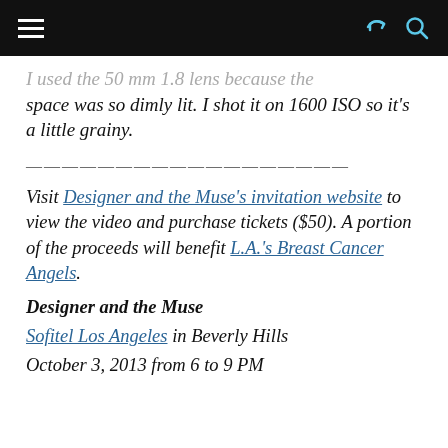[navigation bar with hamburger menu, share icon, and search icon]
...I used the 50 mm 1.8 lens because the space was so dimly lit. I shot it on 1600 ISO so it's a little grainy.
——————————————————————
Visit Designer and the Muse's invitation website to view the video and purchase tickets ($50). A portion of the proceeds will benefit L.A.'s Breast Cancer Angels.
Designer and the Muse
Sofitel Los Angeles in Beverly Hills
October 3, 2013 from 6 to 9 PM